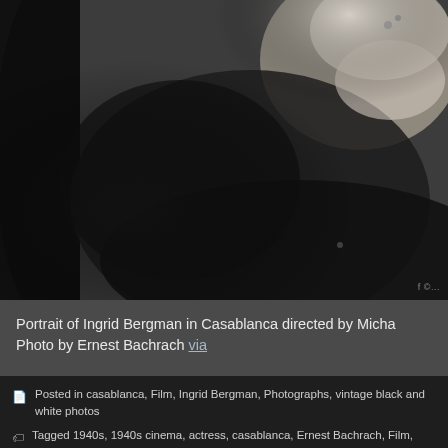[Figure (photo): Black and white photograph of Ingrid Bergman in Casablanca, showing a close-up portrait in dramatic chiaroscuro lighting. Photo by Ernest Bachrach.]
Portrait of Ingrid Bergman in Casablanca directed by Micha Photo by Ernest Bachrach via
Posted in casablanca, Film, Ingrid Bergman, Photographs, vintage black and white photos
Tagged 1940s, 1940s cinema, actress, casablanca, Ernest Bachrach, Film, Ingrid bergman, old hollywood, vintage black and white photos